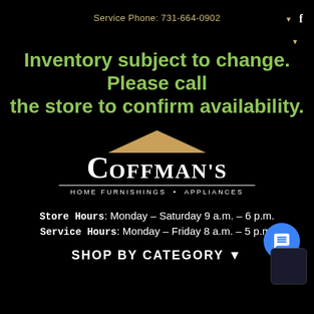Service Phone: 731-664-0902
Inventory subject to change. Please call the store to confirm availability.
[Figure (logo): Coffman's Home Furnishings • Appliances logo with a tan/gold roof triangle above the brand name in white serif font, with a horizontal rule and tagline below.]
Store Hours: Monday - Saturday 9 a.m. - 6 p.m.
Service Hours: Monday - Friday 8 a.m. - 5 p.m.
SHOP BY CATEGORY ▼